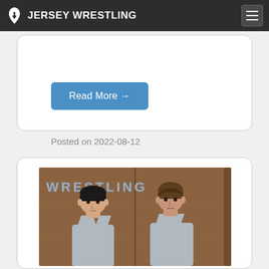JERSEY WRESTLING
Read More →
Posted on 2022-08-12
[Figure (photo): Two young male wrestlers in gray singlets standing in front of a wooden wall with metal letters spelling WRESTLING]